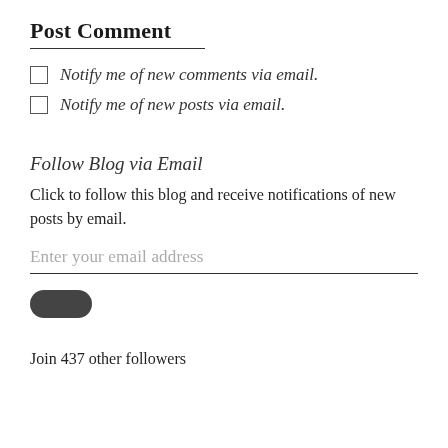Post Comment
Notify me of new comments via email.
Notify me of new posts via email.
Follow Blog via Email
Click to follow this blog and receive notifications of new posts by email.
Enter your email address
[Figure (other): Dark rounded rectangle button (Follow button)]
Join 437 other followers